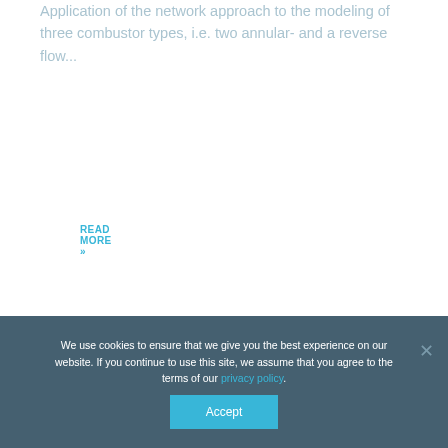Application of the network approach to the modeling of three combustor types, i.e. two annular- and a reverse flow...
READ MORE »
GAS TURBINE
We use cookies to ensure that we give you the best experience on our website. If you continue to use this site, we assume that you agree to the terms of our privacy policy.
Accept